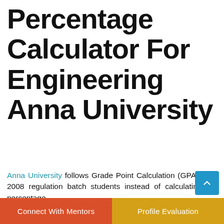Percentage Calculator For Engineering Anna University
Anna University follows Grade Point Calculation (GPA) from 2008 regulation batch students instead of calculating the percentage. Comparing the percentage method with the grade point average(GPA) method is a good method because the performance of the student's marks for every subject will be considered based on their credit points.
GPA for a semester means the ratio of the sum of the products of the number of credits for courses acquired and the corresponding points to the su…
Connect With Mentors   Profile Evaluation